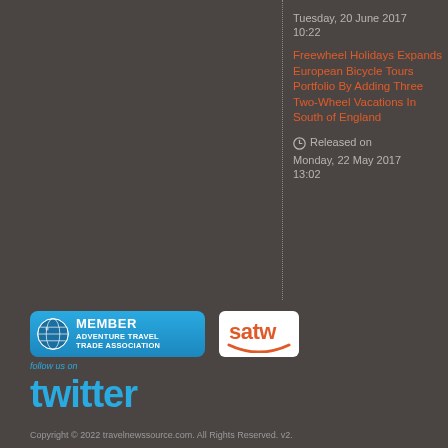Tuesday, 20 June 2017
10:22
Freewheel Holidays Expands European Bicycle Tours Portfolio By Adding Three Two-Wheel Vacations In South of England
Released on Monday, 22 May 2017 13:02
[Figure (logo): Adventure Travel Trade Association member badge - blue rounded rectangle with globe icon and MEMBER text]
[Figure (logo): SATW logo - white rounded rectangle with orange satw text and smile curve]
[Figure (logo): Follow us on Twitter - blue twitter wordmark logo]
Copyright © 2022 travelnewssource.com. All Rights Reserved. v2.